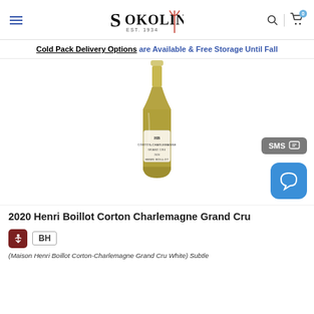Sokolin EST. 1934
Cold Pack Delivery Options are Available & Free Storage Until Fall
[Figure (photo): Wine bottle of 2020 Henri Boillot Corton-Charlemagne Grand Cru, white wine with a label showing HB, CORTON-CHARLEMAGNE, GRAND CRU, 2020, HENRI BOILLOT]
2020 Henri Boillot Corton Charlemagne Grand Cru
(Maison Henri Boillot Corton-Charlemagne Grand Cru White) Subtle